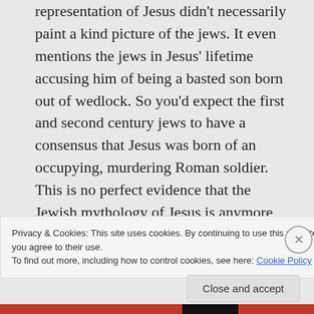representation of Jesus didn't necessarily paint a kind picture of the jews. It even mentions the jews in Jesus' lifetime accusing him of being a basted son born out of wedlock. So you'd expect the first and second century jews to have a consensus that Jesus was born of an occupying, murdering Roman soldier. This is no perfect evidence that the Jewish mythology of Jesus is anymore accurate
Privacy & Cookies: This site uses cookies. By continuing to use this website, you agree to their use.
To find out more, including how to control cookies, see here: Cookie Policy
Close and accept